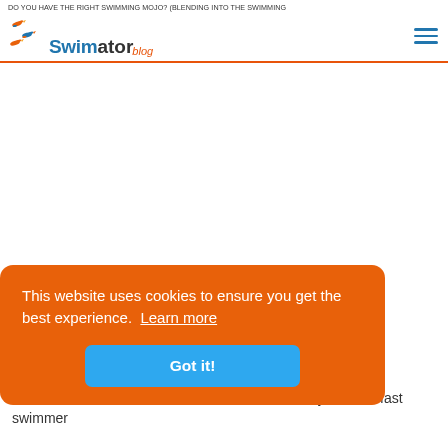DO YOU HAVE THE RIGHT SWIMMING MOJO? (BLENDING INTO THE SWIMMING
[Figure (logo): Swimator Blog logo with colorful swimming birds and blue/dark text]
This website uses cookies to ensure you get the best experience. Learn more
Got it!
...rties, ...ater for the slower swimmer or a black eye for the fast swimmer